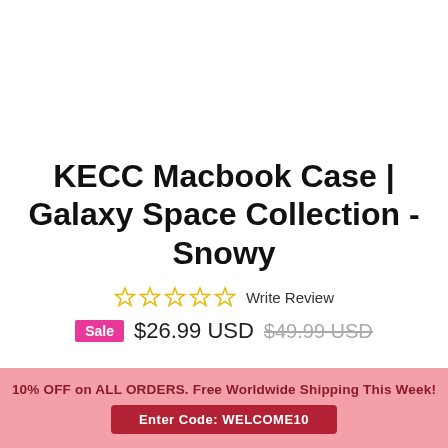KECC Macbook Case | Galaxy Space Collection - Snowy
☆☆☆☆☆ Write Review
Sale $26.99 USD $49.99 USD
10% OFF on ALL ORDERS. Free Worldwide Shipping This Week!
Enter Code: WELCOME10